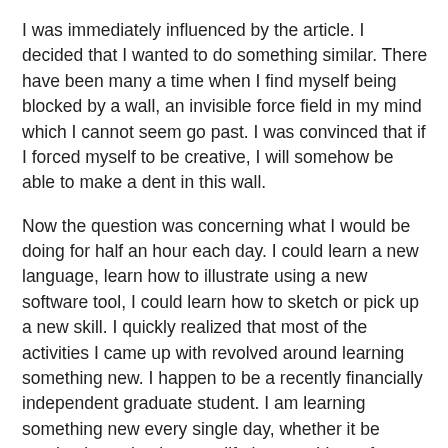I was immediately influenced by the article. I decided that I wanted to do something similar. There have been many a time when I find myself being blocked by a wall, an invisible force field in my mind which I cannot seem go past. I was convinced that if I forced myself to be creative, I will somehow be able to make a dent in this wall.
Now the question was concerning what I would be doing for half an hour each day. I could learn a new language, learn how to illustrate using a new software tool, I could learn how to sketch or pick up a new skill. I quickly realized that most of the activities I came up with revolved around learning something new. I happen to be a recently financially independent graduate student. I am learning something new every single day, whether it be academic or simply some life lessons I learn from living alone in a foreign country. Maybe I needed a break from all this learning. I decided to stick to something which I like and settled on writing.
Around this time, I was approaching my 23rd birthday. I thought that my birthday would be the perfect moment to launch this project, and so I decided to begin on...